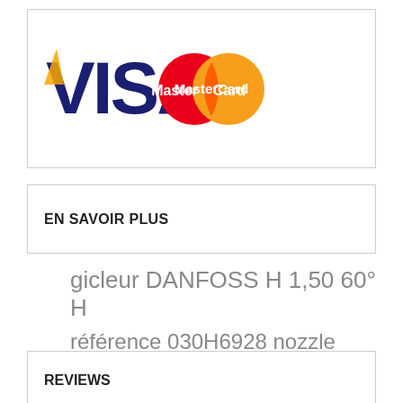[Figure (logo): VISA MasterCard payment logos side by side]
EN SAVOIR PLUS
gicleur DANFOSS H 1,50 60° H
référence 030H6928 nozzle Danfoss H
REVIEWS
Be the first to write your review!